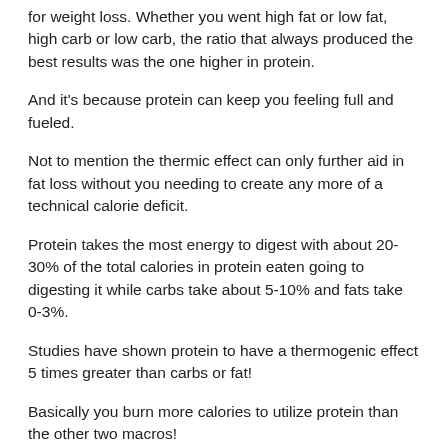for weight loss. Whether you went high fat or low fat, high carb or low carb, the ratio that always produced the best results was the one higher in protein.
And it's because protein can keep you feeling full and fueled.
Not to mention the thermic effect can only further aid in fat loss without you needing to create any more of a technical calorie deficit.
Protein takes the most energy to digest with about 20-30% of the total calories in protein eaten going to digesting it while carbs take about 5-10% and fats take 0-3%.
Studies have shown protein to have a thermogenic effect 5 times greater than carbs or fat!
Basically you burn more calories to utilize protein than the other two macros!
Increasing your protein can also help you build and retain lean muscle mass even while in a deficit.